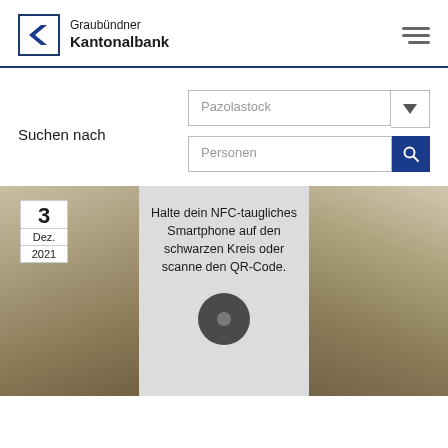[Figure (logo): Graubündner Kantonalbank logo with blue arrow chevron icon and bank name text]
Suchen nach
Pazolastock
Personen
[Figure (photo): Outdoor photograph showing a sign with text 'Halte dein NFC-taugliches Smartphone auf den schwarzen Kreis oder scanne den QR-Code.' with an NFC reader circle, set in a rocky alpine landscape. Date badge shows 3 Dez. 2021.]